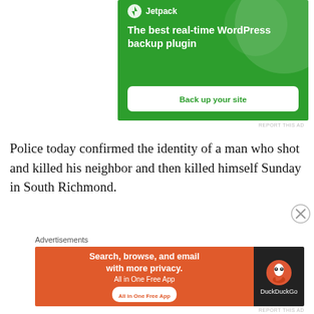[Figure (screenshot): Jetpack WordPress plugin advertisement on green background with 'The best real-time WordPress backup plugin' text and 'Back up your site' button]
REPORT THIS AD
Police today confirmed the identity of a man who shot and killed his neighbor and then killed himself Sunday in South Richmond.
Advertisements
[Figure (screenshot): DuckDuckGo advertisement with orange background: 'Search, browse, and email with more privacy. All in One Free App' with DuckDuckGo logo on dark background]
REPORT THIS AD